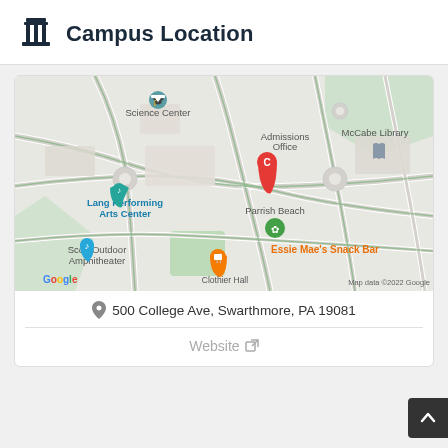Campus Location
[Figure (map): Google Map showing Swarthmore College campus with labeled buildings: Science Center, Admissions Office, McCabe Library, Lang Performing Arts Center, Scott Outdoor Amphitheater, Parrish Beach, Essie Mae's Snack Bar, Clothier Hall. Red pin marker labeled C at Admissions Office. Map data ©2022 Google.]
500 College Ave, Swarthmore, PA 19081
Website